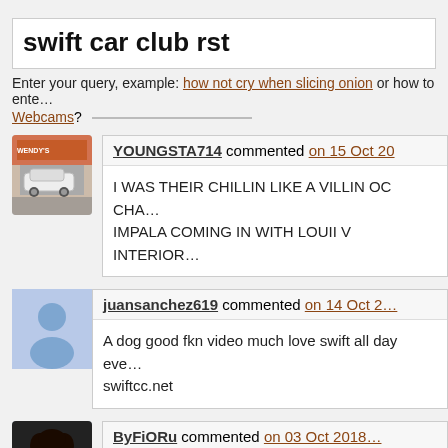swift car club rst
Enter your query, example: how not cry when slicing onion or how to enter…
Webcams?
YOUNGSTA714 commented on 15 Oct 20…
I WAS THEIR CHILLIN LIKE A VILLIN OC CHA… IMPALA COMING IN WITH LOUII V INTERIOR…
juansanchez619 commented on 14 Oct 2…
A dog good fkn video much love swift all day eve… swiftcc.net
ByFiORu commented on 03 Oct 2018…